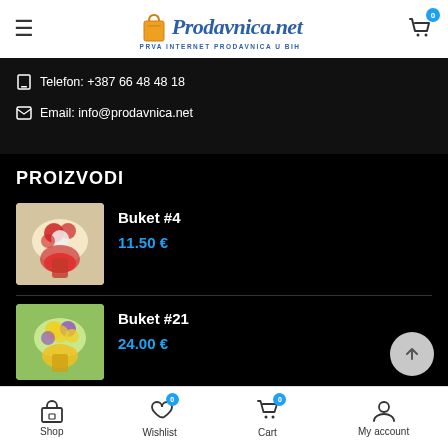[Figure (logo): Prodavnica.net logo - shopping bag icon with stylized text and subtitle PRVA INTERNET PRODAVNICA U BIH]
Telefon: +387 66 48 48 18
Email: info@prodavnica.net
PROIZVODI
[Figure (photo): Flower bouquet Buket #4 - red and white flowers in red wrapping]
Buket #4
11.50 €
[Figure (photo): Flower bouquet Buket #21 - yellow and purple flowers in yellow wrapping]
Buket #21
24.00 €
Shop   Wishlist 0   Cart 0   My account